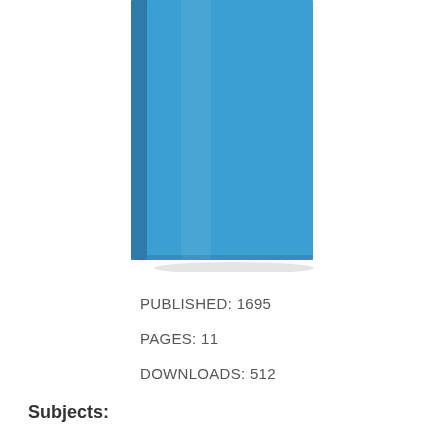[Figure (illustration): A blue hardcover book shown upright, with a slightly darker spine visible on the left side.]
PUBLISHED: 1695
PAGES: 11
DOWNLOADS: 512
Subjects: